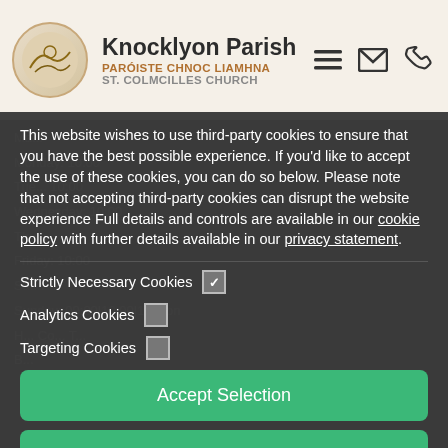Knocklyon Parish | PARÓISTE CHNOC LIAMHNA | ST. COLMCILLES CHURCH
This website wishes to use third-party cookies to ensure that you have the best possible experience. If you'd like to accept the use of these cookies, you can do so below. Please note that not accepting third-party cookies can disrupt the website experience Full details and controls are available in our cookie policy with further details available in our privacy statement.
Strictly Necessary Cookies [checked]
Analytics Cookies [unchecked]
Targeting Cookies [unchecked]
Accept Selection
Accept All